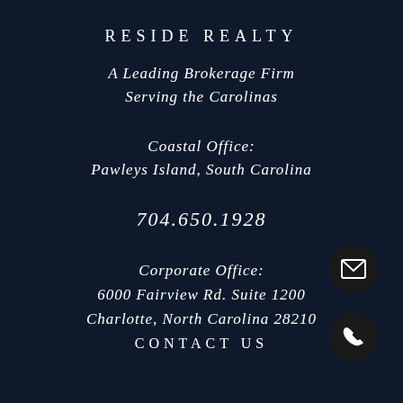RESIDE REALTY
A Leading Brokerage Firm
Serving the Carolinas
Coastal Office:
Pawleys Island, South Carolina
704.650.1928
[Figure (illustration): Email icon in circular dark button]
Corporate Office:
6000 Fairview Rd. Suite 1200
Charlotte, North Carolina 28210
[Figure (illustration): Phone icon in circular dark button]
CONTACT US